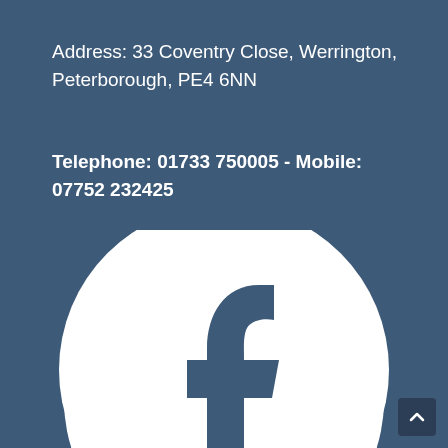Address: 33 Coventry Close, Werrington, Peterborough, PE4 6NN
Telephone: 01733 750005 - Mobile: 07752 232425
[Figure (logo): Facebook logo — white circle with the Facebook 'f' icon in steel blue, on a steel blue background]